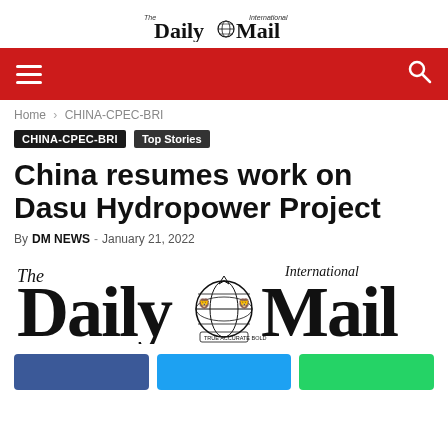The International Daily Mail
[Figure (logo): The International Daily Mail newspaper logo in small format at top center]
Home › CHINA-CPEC-BRI
CHINA-CPEC-BRI   Top Stories
China resumes work on Dasu Hydropower Project
By DM NEWS - January 21, 2022
[Figure (logo): Large The International Daily Mail logo with globe, lions and motto TRUE ACCURATE BOLD]
[Figure (other): Social share buttons: Facebook (blue), Twitter (blue), WhatsApp (green)]